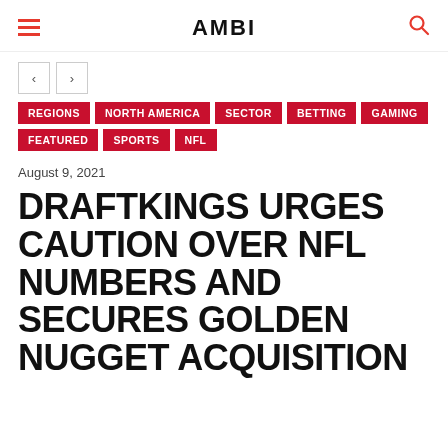AMBI
REGIONS | NORTH AMERICA | SECTOR | BETTING | GAMING | FEATURED | SPORTS | NFL
August 9, 2021
DRAFTKINGS URGES CAUTION OVER NFL NUMBERS AND SECURES GOLDEN NUGGET ACQUISITION